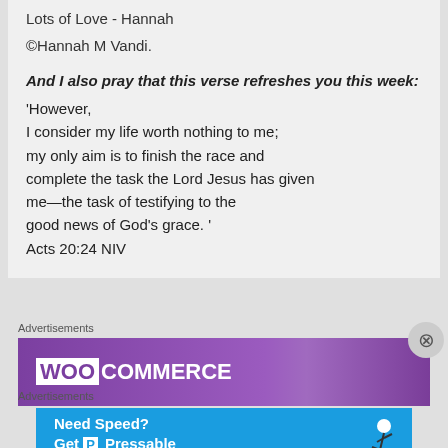Lots of Love - Hannah
©Hannah M Vandi.
And I also pray that this verse refreshes you this week:
'However,
I consider my life worth nothing to me;
my only aim is to finish the race and complete the task the Lord Jesus has given me—the task of testifying to the good news of God's grace. '
Acts 20:24 NIV
Advertisements
[Figure (screenshot): WooCommerce advertisement banner with purple background]
Advertisements
[Figure (screenshot): Pressable advertisement banner with blue background showing 'Need Speed? Get Pressable' with a running figure]